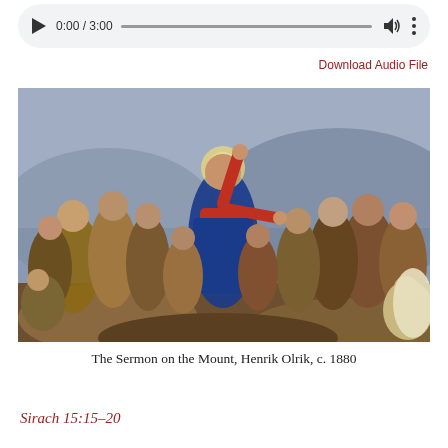[Figure (screenshot): Audio player widget showing play button, time 0:00 / 3:00, progress bar, volume icon, and more options icon on a light gray rounded background]
Download Audio File
[Figure (illustration): Painting titled 'The Sermon on the Mount' by Henrik Olrik, c. 1880. Shows Jesus in red and blue robes with a halo, arms outstretched, surrounded by disciples and followers on a rocky hillside.]
The Sermon on the Mount, Henrik Olrik, c. 1880
Sirach 15:15–20